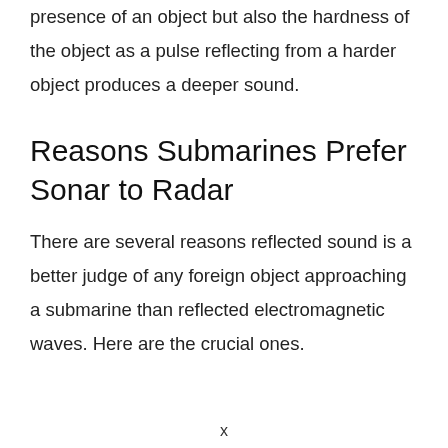presence of an object but also the hardness of the object as a pulse reflecting from a harder object produces a deeper sound.
Reasons Submarines Prefer Sonar to Radar
There are several reasons reflected sound is a better judge of any foreign object approaching a submarine than reflected electromagnetic waves. Here are the crucial ones.
x